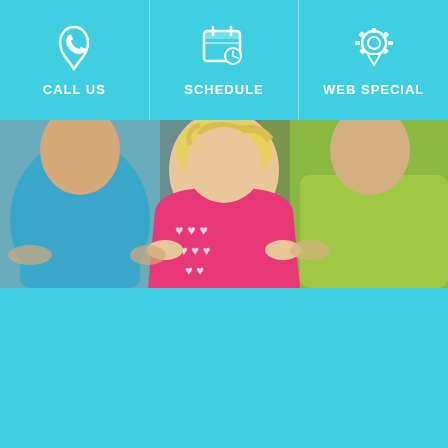[Figure (infographic): Navigation bar with three columns on cyan background: CALL US (phone icon), SCHEDULE (calendar/clock icon), WEB SPECIAL (badge/ribbon icon)]
[Figure (photo): Three children standing side by side. Left child wears a blue shirt, center child is a young girl in a pink top with white heart patterns, right child wears a light green/yellow shirt. Background is blurred gray-green.]
[Figure (other): Solid cyan/turquoise background filling the lower portion of the page]